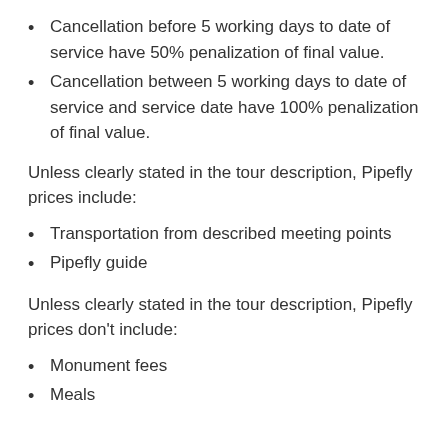Cancellation before 5 working days to date of service have 50% penalization of final value.
Cancellation between 5 working days to date of service and service date have 100% penalization of final value.
Unless clearly stated in the tour description, Pipefly prices include:
Transportation from described meeting points
Pipefly guide
Unless clearly stated in the tour description, Pipefly prices don't include:
Monument fees
Meals